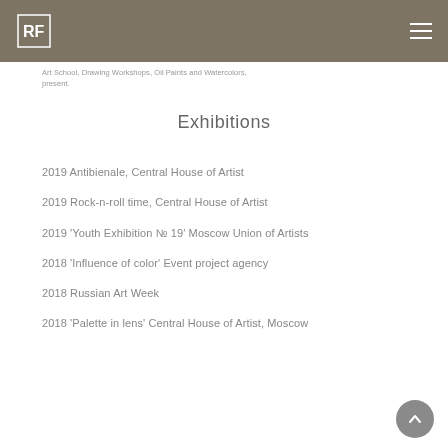RF logo and navigation header
Art School, Drawing Workshops, Oil Paints and Watercolors, present.
Exhibitions
2019 Antibienale, Central House of Artist
2019 Rock-n-roll time, Central House of Artist
2019 'Youth Exhibition № 19' Moscow Union of Artists
2018 'Influence of color' Event project agency
2018 Russian Art Week
2018 'Palette in lens' Central House of Artist, Moscow